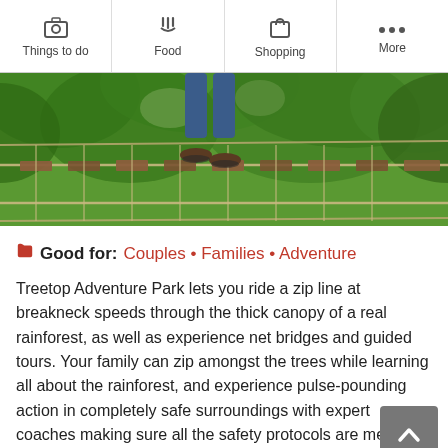Things to do | Food | Shopping | More
[Figure (photo): Person walking on a rope bridge suspended between trees in a treetop adventure park, with wooden plank steps and safety ropes, surrounded by thick green forest canopy.]
Good for: Couples • Families • Adventure
Treetop Adventure Park lets you ride a zip line at breakneck speeds through the thick canopy of a real rainforest, as well as experience net bridges and guided tours. Your family can zip amongst the trees while learning all about the rainforest, and experience pulse-pounding action in completely safe surroundings with expert coaches making sure all the safety protocols are met.
Treetop Adventure Park is located in the town of